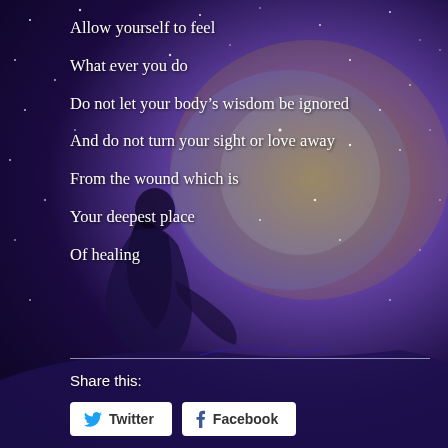[Figure (illustration): Night sky background with stars and nebula cloud in purple, blue, and gold tones. A woman sits on rumpled fabric (bed) in the lower left, facing right toward the glowing nebula.]
Allow yourself to feel
What ever you do
Do not let your body’s wisdom be ignored
And do not turn your sight or love away
From the wound which is
Your deepest place
Of healing
Share this:
Twitter
Facebook